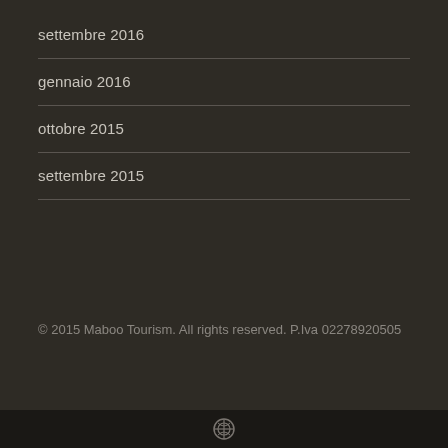settembre 2016
gennaio 2016
ottobre 2015
settembre 2015
© 2015 Maboo Tourism. All rights reserved. P.Iva 02278920505
WordPress icon